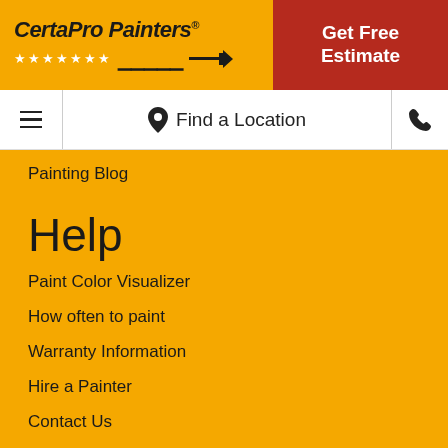[Figure (logo): CertaPro Painters logo with yellow background, company name in bold italic, row of white stars, and paintbrush icon]
Get Free Estimate
Find a Location
Painting Blog
Help
Paint Color Visualizer
How often to paint
Warranty Information
Hire a Painter
Contact Us
Locations